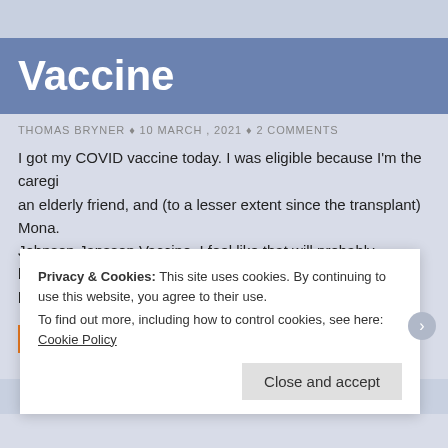Vaccine
THOMAS BRYNER ♦ 10 MARCH , 2021 ♦ 2 COMMENTS
I got my COVID vaccine today. I was eligible because I'm the caregiver of an elderly friend, and (to a lesser extent since the transplant) Mona. Johnson Janssen Vaccine. I feel like that will probably become the most because it doesn't require extremely low temperatures ...
CONTINUE READING →
Privacy & Cookies: This site uses cookies. By continuing to use this website, you agree to their use.
To find out more, including how to control cookies, see here: Cookie Policy
Close and accept